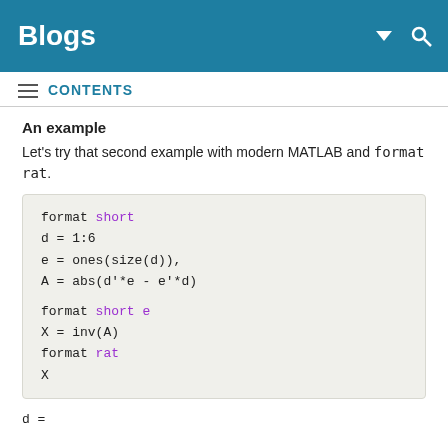Blogs
CONTENTS
An example
Let's try that second example with modern MATLAB and format rat.
format short
d = 1:6
e = ones(size(d)),
A = abs(d'*e - e'*d)

format short e
X = inv(A)
format rat
X
d =

    1    2    3    4    5    6